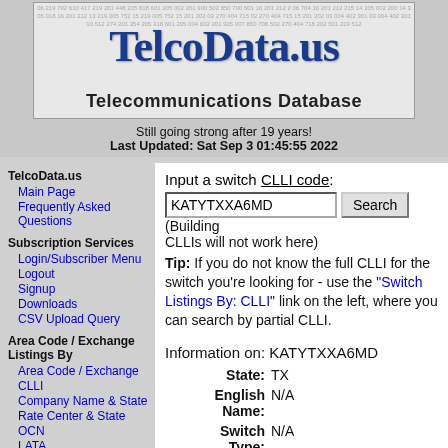[Figure (logo): TelcoData.us logo banner with telecommunications database title and background number grid]
Still going strong after 19 years!
Last Updated: Sat Sep 3 01:45:55 2022
TelcoData.us
Main Page
Frequently Asked Questions
Subscription Services
Login/Subscriber Menu
Logout
Signup
Downloads
CSV Upload Query
Area Code / Exchange Listings By
Area Code / Exchange
CLLI
Company Name & State
Rate Center & State
OCN
LATA
Switch Listings By
Input a switch CLLI code:
KATYTXXA6MD  [Search]  (Building CLLIs will not work here)
Tip: If you do not know the full CLLI for the switch you're looking for - use the "Switch Listings By: CLLI" link on the left, where you can search by partial CLLI.
Information on: KATYTXXA6MD
State: TX
English Name: N/A
Switch Type: N/A
Host CLLI (if remote): N/A